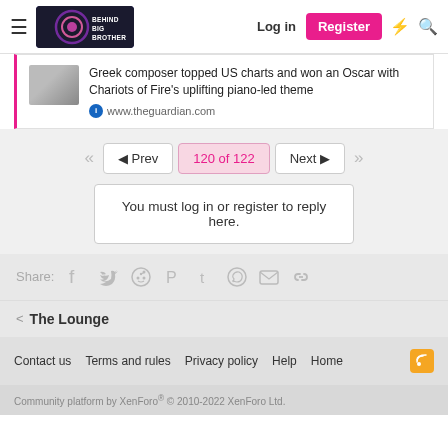Behind Big Brother — Log in | Register
Greek composer topped US charts and won an Oscar with Chariots of Fire's uplifting piano-led theme
www.theguardian.com
◄ Prev  120 of 122  Next ►
You must log in or register to reply here.
Share:
< The Lounge
Contact us  Terms and rules  Privacy policy  Help  Home
Community platform by XenForo® © 2010-2022 XenForo Ltd.